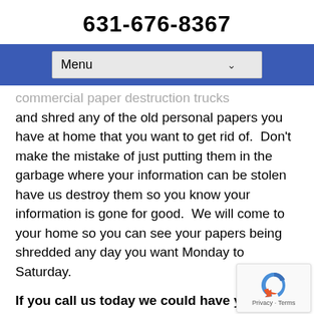631-676-8367
[Figure (screenshot): Navigation bar with blue background and a dropdown menu labeled 'Menu']
commercial paper destruction trucks and shred any of the old personal papers you have at home that you want to get rid of.  Don't make the mistake of just putting them in the garbage where your information can be stolen have us destroy them so you know your information is gone for good.  We will come to your home so you can see your papers being shredded any day you want Monday to Saturday.
If you call us today we could have you shredding tomorrow.